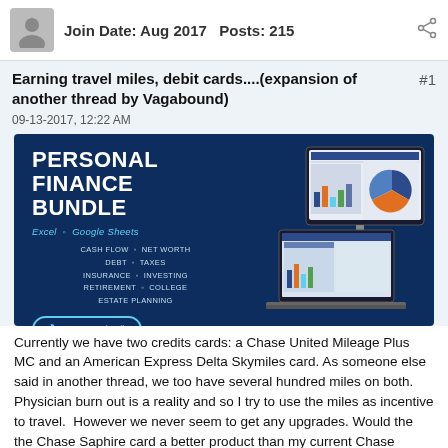Join Date: Aug 2017   Posts: 215
Earning travel miles, debit cards....(expansion of another thread by Vagabound)
09-13-2017, 12:22 AM
[Figure (infographic): Personal Finance Bundle advertisement banner showing spreadsheet templates on computer screens. Text: PERSONAL FINANCE BUNDLE, Excel • Google Sheets, CASH FLOW • NET WORTH, DEBT • TAXES, INSURANCE • INVESTING, RETIREMENT • COLLEGE, ESTATE PLANNING, see more details]
Currently we have two credits cards: a Chase United Mileage Plus MC and an American Express Delta Skymiles card. As someone else said in another thread, we too have several hundred miles on both. Physician burn out is a reality and so I try to use the miles as incentive to travel.  However we never seem to get any upgrades. Would the the Chase Saphire card a better product than my current Chase Mileage Plus card? And, if so, can I switch our miles to that from the